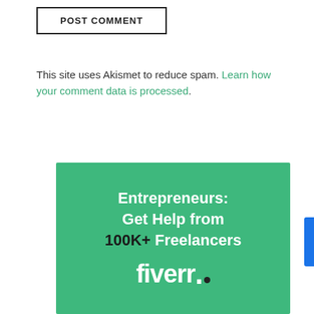POST COMMENT
This site uses Akismet to reduce spam. Learn how your comment data is processed.
[Figure (illustration): Fiverr advertisement banner with green background. Text reads: Entrepreneurs: Get Help from 100K+ Freelancers. fiverr. logo with dark dot.]